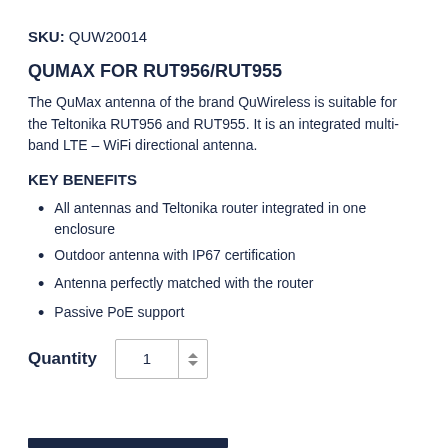SKU: QUW20014
QUMAX FOR RUT956/RUT955
The QuMax antenna of the brand QuWireless is suitable for the Teltonika RUT956 and RUT955. It is an integrated multi-band LTE – WiFi directional antenna.
KEY BENEFITS
All antennas and Teltonika router integrated in one enclosure
Outdoor antenna with IP67 certification
Antenna perfectly matched with the router
Passive PoE support
Quantity 1